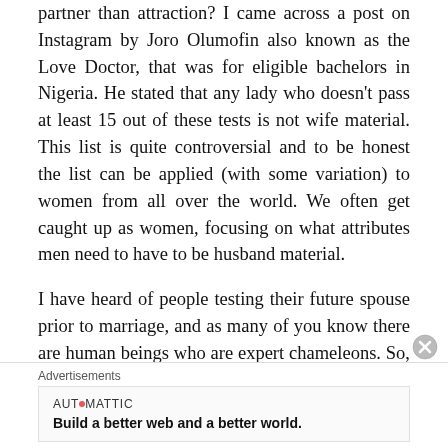partner than attraction? I came across a post on Instagram by Joro Olumofin also known as the Love Doctor, that was for eligible bachelors in Nigeria. He stated that any lady who doesn't pass at least 15 out of these tests is not wife material. This list is quite controversial and to be honest the list can be applied (with some variation) to women from all over the world. We often get caught up as women, focusing on what attributes men need to have to be husband material.
I have heard of people testing their future spouse prior to marriage, and as many of you know there are human beings who are expert chameleons. So, with that being said I'm not
Advertisements
AUTOMATTIC
Build a better web and a better world.